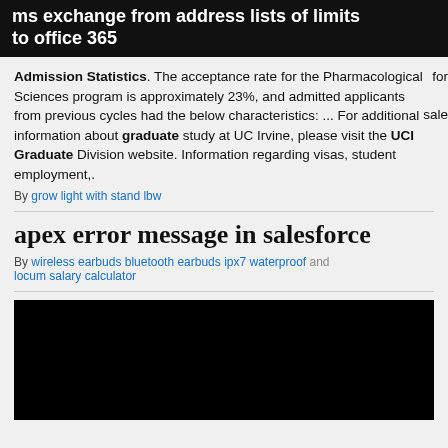ms exchange from address lists of limits to office 365 for sale
Admission Statistics. The acceptance rate for the Pharmacological Sciences program is approximately 23%, and admitted applicants from previous cycles had the below characteristics: ... For additional information about graduate study at UC Irvine, please visit the UCI Graduate Division website. Information regarding visas, student employment,.
By grow light with stand lbw
apex error message in salesforce
By wireless earbuds bluetooth earbuds ipx7 waterproofand locum salary calculator
[Figure (photo): Black rectangle image/video thumbnail area]